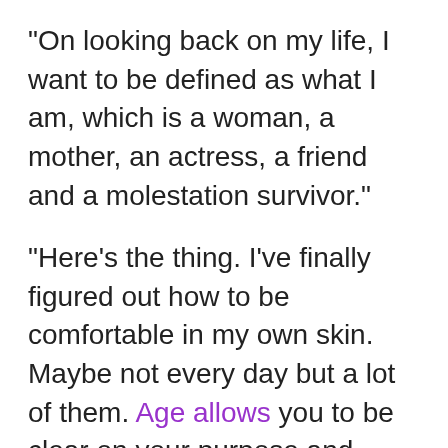“On looking back on my life, I want to be defined as what I am, which is a woman, a mother, an actress, a friend and a molestation survivor.”
“Here’s the thing.  I’ve finally figured out how to be comfortable in my own skin.  Maybe not every day but a lot of them.  Age allows you to be clear on your purpose and cherish who and what you are grateful for.  You have enough age to see the miracle of life and enough youth to revel in that knowledge.”
“Aging is not for the faint of heart.  I’ve raised my daughter, I’ve had hit shows, I’ve won